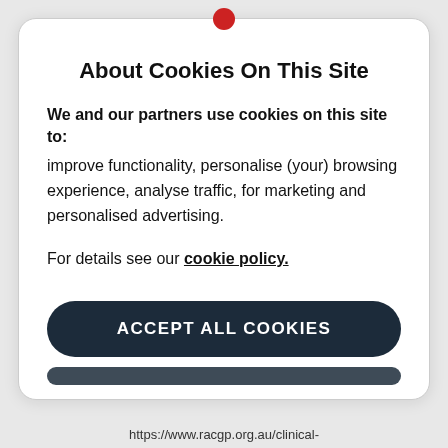About Cookies On This Site
We and our partners use cookies on this site to: improve functionality, personalise (your) browsing experience, analyse traffic, for marketing and personalised advertising.
For details see our cookie policy.
ACCEPT ALL COOKIES
https://www.racgp.org.au/clinical-